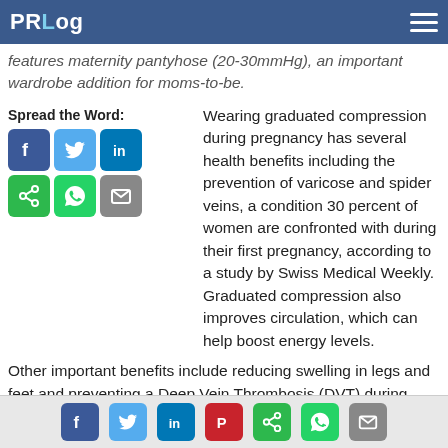PRLog
features maternity pantyhose (20-30mmHg), an important wardrobe addition for moms-to-be.
Wearing graduated compression during pregnancy has several health benefits including the prevention of varicose and spider veins, a condition 30 percent of women are confronted with during their first pregnancy, according to a study by Swiss Medical Weekly. Graduated compression also improves circulation, which can help boost energy levels.
Other important benefits include reducing swelling in legs and feet and preventing a Deep Vein Thrombosis (DVT) during pregnancy and for six weeks after delivery because a pregnant women is five to six times more likely to develop a DVT than a non-pregnant woman. The Centers for Disease Control and Prevention recommends wearing graduated compression socks as a preventative measure against DVT.
“Many women avoid wearing compression stockings during pregnancy despite the health benefits because they have heard they are unfashionable,” says Judith Brannan, medical affairs and
Social share icons row